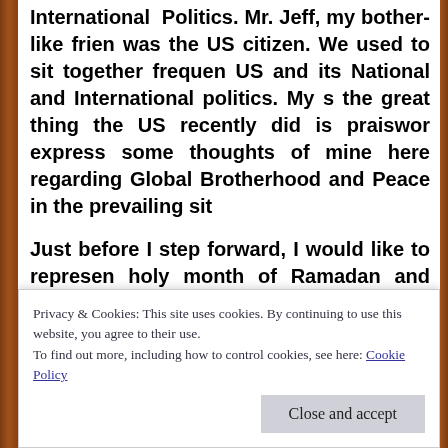International Politics. Mr. Jeff, my bother-like friend was the US citizen. We used to sit together frequently discussing the US and its National and International politics. My sharing of the great thing the US recently did is praiseworthy. I want to express some thoughts of mine here regarding Global Brotherhood and Peace in the prevailing situation.
Just before I step forward, I would like to represent the holy month of Ramadan and expressing the deep wishes and throughout the world, was passed unanimously on October, 2, 2007 (International Non-violence Day) b... was the 1st of its kind to acknowledge the import... sign of respect and recognition. Its text is as follow...
Privacy & Cookies: This site uses cookies. By continuing to use this website, you agree to their use.
To find out more, including how to control cookies, see here: Cookie Policy
Close and accept